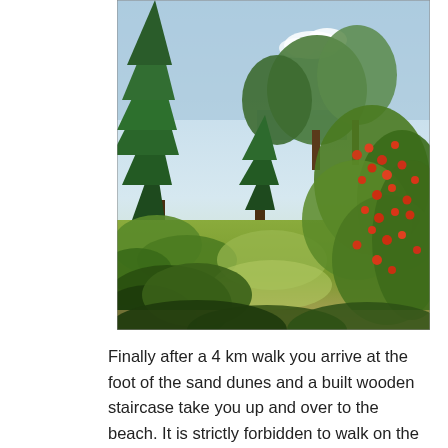[Figure (photo): Outdoor nature photograph showing a forest trail or clearing with evergreen trees on the left, deciduous trees in the background, green shrubs and wild vegetation in the foreground, and a rose hip bush with red berries on the right side. A glimpse of water or open sky is visible in the middle distance.]
Finally after a 4 km walk you arrive at the foot of the sand dunes and a built wooden staircase take you up and over to the beach. It is strictly forbidden to walk on the dunes. Vast swath of Lisbon and Marram grass